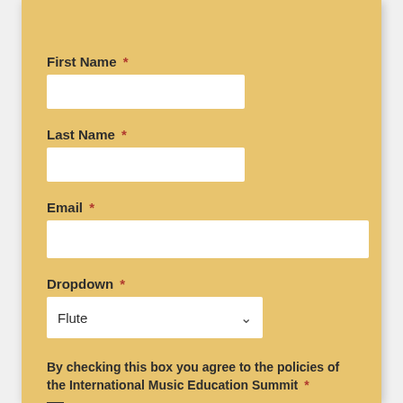First Name *
[Figure (other): Empty white text input field for First Name]
Last Name *
[Figure (other): Empty white text input field for Last Name]
Email *
[Figure (other): Empty white text input field for Email (wider)]
Dropdown *
[Figure (other): Dropdown selector showing 'Flute' with chevron arrow]
By checking this box you agree to the policies of the International Music Education Summit *
[Figure (other): Unchecked checkbox]